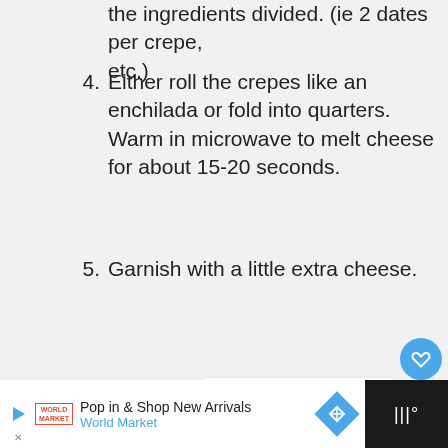the ingredients divided. (ie 2 dates per crepe, etc.)
4. Either roll the crepes like an enchilada or fold into quarters. Warm in microwave to melt cheese for about 15-20 seconds.
5. Garnish with a little extra cheese.